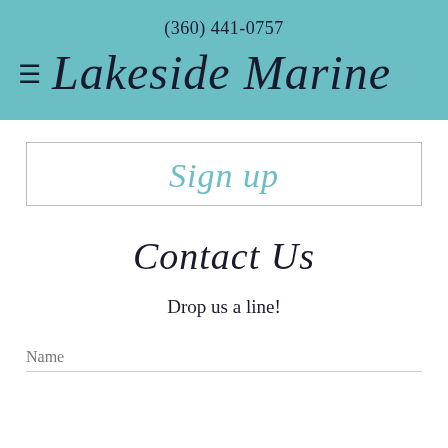(360) 441-0757
Lakeside Marine
Sign up
Contact Us
Drop us a line!
Name